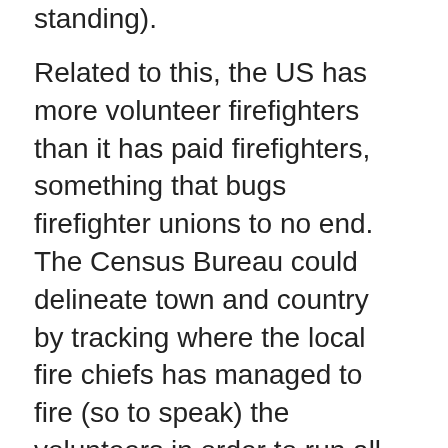standing).
Related to this, the US has more volunteer firefighters than it has paid firefighters, something that bugs firefighter unions to no end. The Census Bureau could delineate town and country by tracking where the local fire chiefs has managed to fire (so to speak) the volunteers in order to run all-paid departments.
There are some jobs that people enjoy doing so much, they'll do it for free. There are many little boys (and not a few little girls ) who want to grow up to be a police officer or a